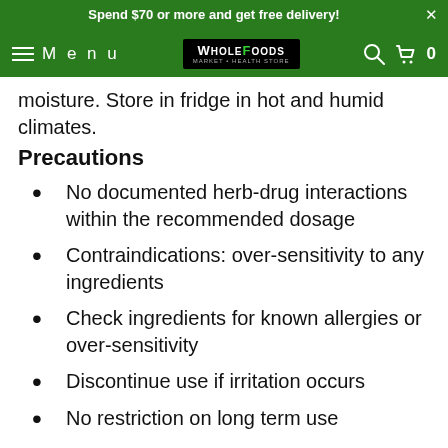Spend $70 or more and get free delivery!
[Figure (screenshot): Whole Foods Market & Health Store navigation bar with hamburger menu, Menu text, logo, search icon, and cart icon showing 0 items]
moisture. Store in fridge in hot and humid climates.
Precautions
No documented herb-drug interactions within the recommended dosage
Contraindications: over-sensitivity to any ingredients
Check ingredients for known allergies or over-sensitivity
Discontinue use if irritation occurs
No restriction on long term use